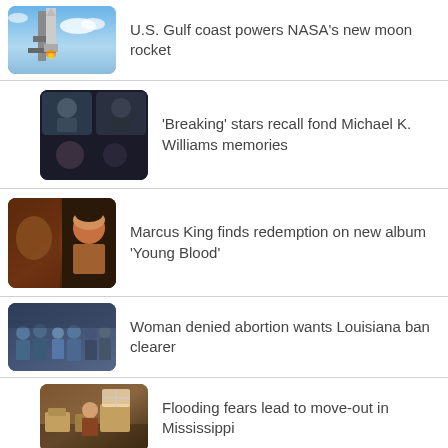U.S. Gulf coast powers NASA's new moon rocket
'Breaking' stars recall fond Michael K. Williams memories
Marcus King finds redemption on new album 'Young Blood'
Woman denied abortion wants Louisiana ban clearer
Flooding fears lead to move-out in Mississippi
[Figure (photo): Partial thumbnail of another news item]